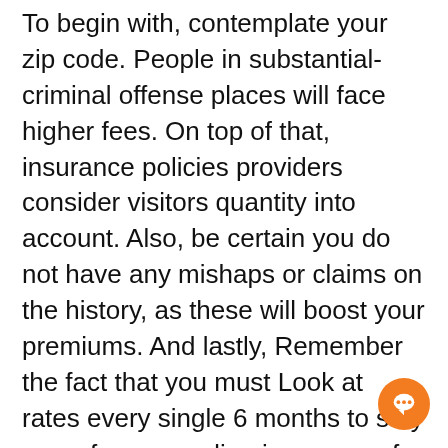To begin with, contemplate your zip code. People in substantial-criminal offense places will face higher fees. On top of that, insurance policies providers consider visitors quantity into account. Also, be certain you do not have any mishaps or claims on the history, as these will boost your premiums. And lastly, Remember the fact that you must Look at rates every single 6 months to stay away from spending in excess of You need to. It's also wise to contemplate acquiring a multi-policy price reduction if you've got multiple policy with a specific insurance company.
Whilst credit history scores aren't lawfully employed by insurers in certain states, They are even now significant considerations when comparing car insurance policies premiums. In Hawaii, motorists with inadequate credit history pays 168% greater than similar thoroughly clean motorists. In Massachusetts, high-hazard motorists spend 30% much more than clean motorists. For brand new motorists, a DUI, speeding ticket, and undesirable credit history will improve fees much more than Many other